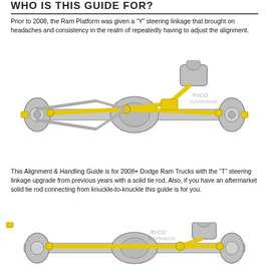WHO IS THIS GUIDE FOR?
Prior to 2008, the Ram Platform was given a “Y” steering linkage that brought on headaches and consistency in the realm of repeatedly having to adjust the alignment.
[Figure (engineering-diagram): Illustration of a truck front axle assembly with Y-shaped yellow steering linkage, showing tie rods, knuckles, differential housing, and steering gear box from a top-down perspective.]
This Alignment & Handling Guide is for 2008+ Dodge Ram Trucks with the “T” steering linkage upgrade from previous years with a solid tie rod. Also, if you have an aftermarket solid tie rod connecting from knuckle-to-knuckle this guide is for you.
[Figure (engineering-diagram): Partial illustration of a truck front axle assembly with T-shaped yellow steering linkage upgrade, showing the improved solid tie rod configuration from a top-down perspective. Image is cropped at the bottom.]